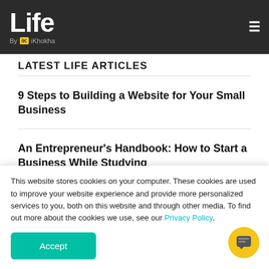Life by iKhokha
LATEST LIFE ARTICLES
9 Steps to Building a Website for Your Small Business
An Entrepreneur's Handbook: How to Start a Business While Studying
Why SMEs in South Africa Need Cyber Security
How to Make Money Using Payment Links
This website stores cookies on your computer. These cookies are used to improve your website experience and provide more personalized services to you, both on this website and through other media. To find out more about the cookies we use, see our Privacy Policy.
Accept